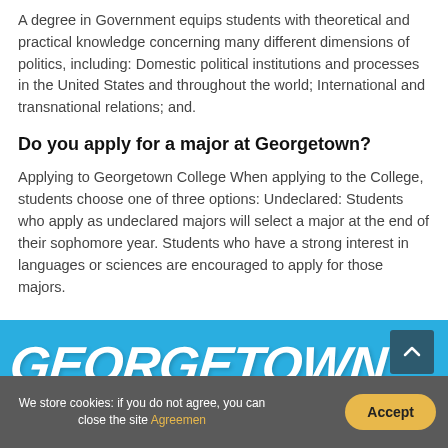A degree in Government equips students with theoretical and practical knowledge concerning many different dimensions of politics, including: Domestic political institutions and processes in the United States and throughout the world; International and transnational relations; and.
Do you apply for a major at Georgetown?
Applying to Georgetown College When applying to the College, students choose one of three options: Undeclared: Students who apply as undeclared majors will select a major at the end of their sophomore year. Students who have a strong interest in languages or sciences are encouraged to apply for those majors.
[Figure (illustration): Blue banner with 'GEORGETOWN' in large white italic brushstroke text, with a dark teal scroll-to-top button in the upper right corner]
We store cookies: if you do not agree, you can close the site Agreemen
Accept